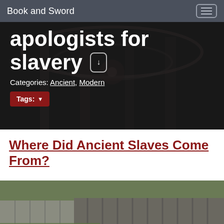Book and Sword
apologists for slavery
Categories: Ancient, Modern
Tags:
Where Did Ancient Slaves Come From?
[Figure (photo): Outdoor photo showing a fence, metal siding, and overgrown vegetation along a path]